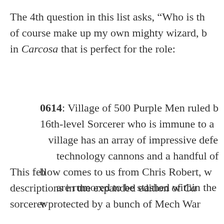The 4th question in this list asks, “Who is th… of course make up my own mighty wizard, b… in Carcosa that is perfect for the role:
0614: Village of 500 Purple Men ruled b… 16th-level Sorcerer who is immune to a… village has an array of impressive defe… technology cannons and a handful of b… are rumored to be stashed within the w…
This fellow comes to us from Chris Robert, w… descriptions in the expanded edition of Ca… sorcerer protected by a bunch of Mech War…